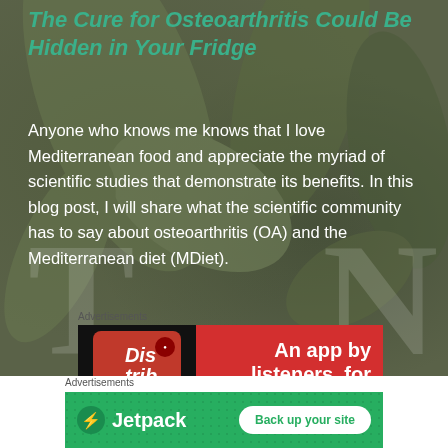The Cure for Osteoarthritis Could Be Hidden in Your Fridge
Anyone who knows me knows that I love Mediterranean food and appreciate the myriad of scientific studies that demonstrate its benefits. In this blog post, I will share what the scientific community has to say about osteoarthritis (OA) and the Mediterranean diet (MDiet).
Advertisements
[Figure (screenshot): Red advertisement banner for a podcast/audio app with text 'An app by listeners, for listeners.' and phone mockup showing app with 'Distrib...' text]
Advertisements
[Figure (screenshot): Green advertisement banner for Jetpack with logo and 'Back up your site' button]